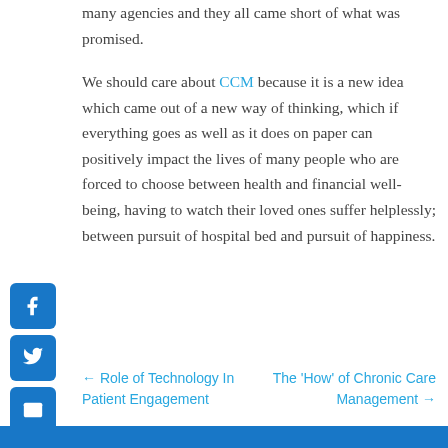many agencies and they all came short of what was promised.
We should care about CCM because it is a new idea which came out of a new way of thinking, which if everything goes as well as it does on paper can positively impact the lives of many people who are forced to choose between health and financial well-being, having to watch their loved ones suffer helplessly; between pursuit of hospital bed and pursuit of happiness.
← Role of Technology In Patient Engagement
The 'How' of Chronic Care Management →